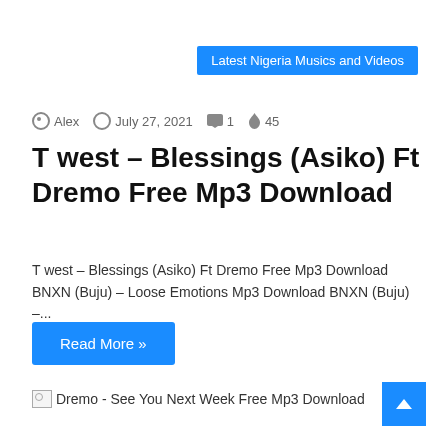Latest Nigeria Musics and Videos
Alex  July 27, 2021  1  45
T west – Blessings (Asiko) Ft Dremo Free Mp3 Download
T west – Blessings (Asiko) Ft Dremo Free Mp3 Download BNXN (Buju) – Loose Emotions Mp3 Download BNXN (Buju) –...
Read More »
Dremo - See You Next Week Free Mp3 Download